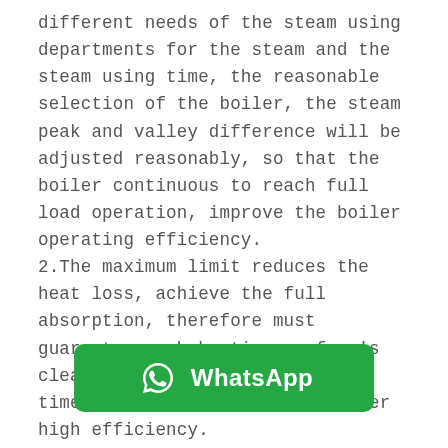different needs of the steam using departments for the steam and the steam using time, the reasonable selection of the boiler, the steam peak and valley difference will be adjusted reasonably, so that the boiler continuous to reach full load operation, improve the boiler operating efficiency.
2.The maximum limit reduces the heat loss, achieve the full absorption, therefore must guarantee each heating surface's clean, remove scale and ash in time to make the boiler run under high efficiency.
3.Reduce the exhaust humidity of gas boiler and effectively utilize the waste heat generated in the exhaust.
4.Adjust the air ratio reasonably. Excessive air coefficient is too large, will cause smoke gas volume increase, t[...] the premise of ensuring t[...] ncy, as far as
[Figure (logo): WhatsApp logo button — green rounded rectangle with WhatsApp phone icon and 'WhatsApp' text in white bold font]